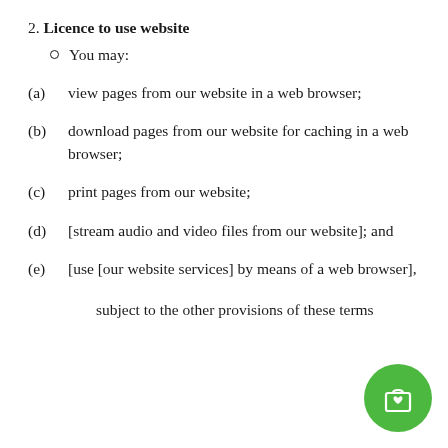2. Licence to use website
You may:
(a)   view pages from our website in a web browser;
(b)   download pages from our website for caching in a web browser;
(c)   print pages from our website;
(d)   [stream audio and video files from our website]; and
(e)   [use [our website services] by means of a web browser],
subject to the other provisions of these terms